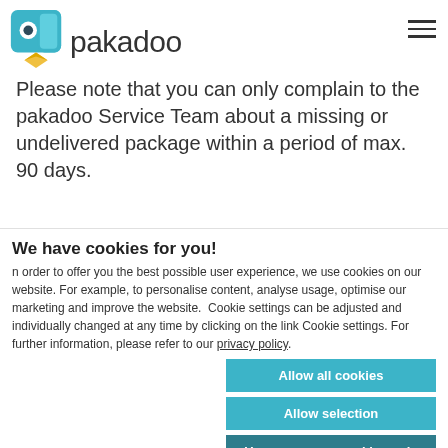[Figure (logo): Pakadoo logo: teal square package icon with eye symbol and yellow location pin, followed by the text 'pakadoo' in dark gray]
Please note that you can only complain to the pakadoo Service Team about a missing or undelivered package within a period of max. 90 days.
We have cookies for you!
n order to offer you the best possible user experience, we use cookies on our website. For example, to personalise content, analyse usage, optimise our marketing and improve the website. Cookie settings can be adjusted and individually changed at any time by clicking on the link Cookie settings. For further information, please refer to our privacy policy.
Allow all cookies
Allow selection
Use necessary cookies only
Necessary  Preferences  Statistics  Marketing  Show details